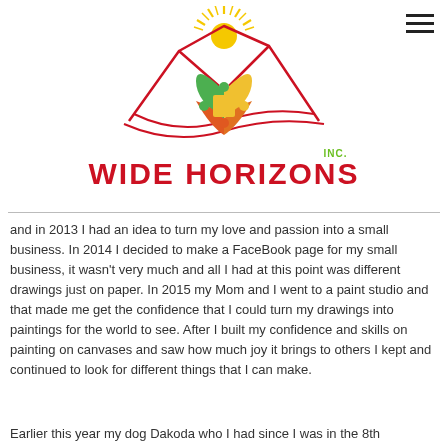[Figure (logo): Wide Horizons Inc. logo featuring red mountain outline, colorful puzzle-piece heart, and sunburst, with text WIDE HORIZONS in red and INC. in green]
and in 2013 I had an idea to turn my love and passion into a small business. In 2014 I decided to make a FaceBook page for my small business, it wasn't very much and all I had at this point was different drawings just on paper. In 2015 my Mom and I went to a paint studio and that made me get the confidence that I could turn my drawings into paintings for the world to see. After I built my confidence and skills on painting on canvases and saw how much joy it brings to others I kept and continued to look for different things that I can make.
Earlier this year my dog Dakoda who I had since I was in the 8th